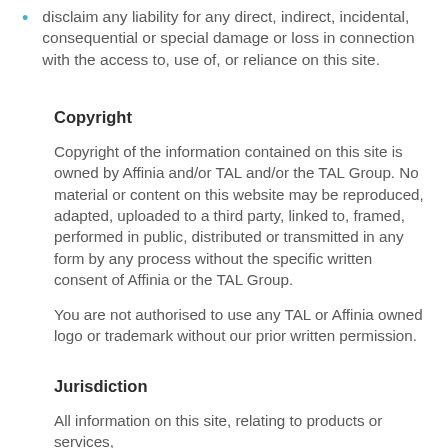disclaim any liability for any direct, indirect, incidental, consequential or special damage or loss in connection with the access to, use of, or reliance on this site.
Copyright
Copyright of the information contained on this site is owned by Affinia and/or TAL and/or the TAL Group. No material or content on this website may be reproduced, adapted, uploaded to a third party, linked to, framed, performed in public, distributed or transmitted in any form by any process without the specific written consent of Affinia or the TAL Group.
You are not authorised to use any TAL or Affinia owned logo or trademark without our prior written permission.
Jurisdiction
All information on this site, relating to products or services,